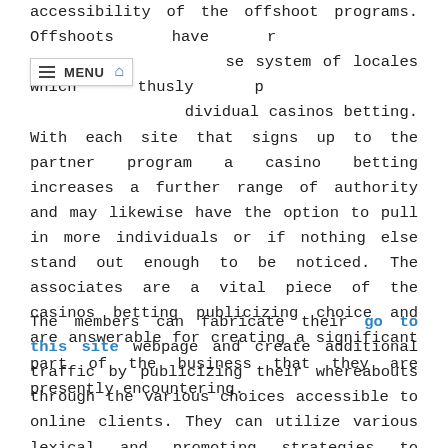accessibility of the offshoot programs. Offshoots have reached the use system of locales which thusly promotes the individual casinos betting. With each site that signs up to the partner program a casino betting increases a further range of authority and may likewise have the option to pull in more individuals or if nothing else stand out enough to be noticed. The associates are a vital piece of the casinos betting publicizing choice and are answerable for creating a significant part of the business that they are presently encountering.
The members can fabricate their go to this site webpage and create additional traffic by publicizing their whereabouts through the various choices accessible to online clients. They can utilize various lexical and promoting strategies to discover which one works best for them in drawing in new clients to a site. The effective member needs to produce traffic through their own site first so as to expand their